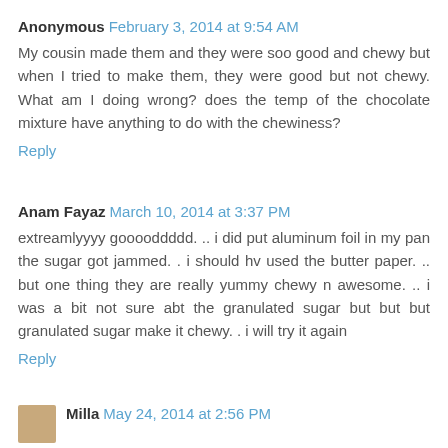Anonymous February 3, 2014 at 9:54 AM
My cousin made them and they were soo good and chewy but when I tried to make them, they were good but not chewy. What am I doing wrong? does the temp of the chocolate mixture have anything to do with the chewiness?
Reply
Anam Fayaz March 10, 2014 at 3:37 PM
extreamlyyyy gooooddddd. .. i did put aluminum foil in my pan the sugar got jammed. . i should hv used the butter paper. .. but one thing they are really yummy chewy n awesome. .. i was a bit not sure abt the granulated sugar but but but granulated sugar make it chewy. . i will try it again
Reply
Milla May 24, 2014 at 2:56 PM